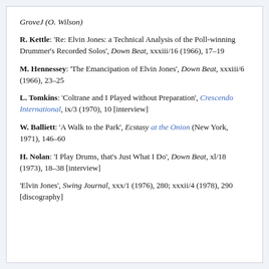GroveJ (O. Wilson)
R. Kettle: 'Re: Elvin Jones: a Technical Analysis of the Poll-winning Drummer's Recorded Solos', Down Beat, xxxiii/16 (1966), 17–19
M. Hennessey: 'The Emancipation of Elvin Jones', Down Beat, xxxiii/6 (1966), 23–25
L. Tomkins: 'Coltrane and I Played without Preparation', Crescendo International, ix/3 (1970), 10 [interview]
W. Balliett: 'A Walk to the Park', Ecstasy at the Onion (New York, 1971), 146–60
H. Nolan: 'I Play Drums, that's Just What I Do', Down Beat, xl/18 (1973), 18–38 [interview]
'Elvin Jones', Swing Journal, xxx/1 (1976), 280; xxxii/4 (1978), 290 [discography]